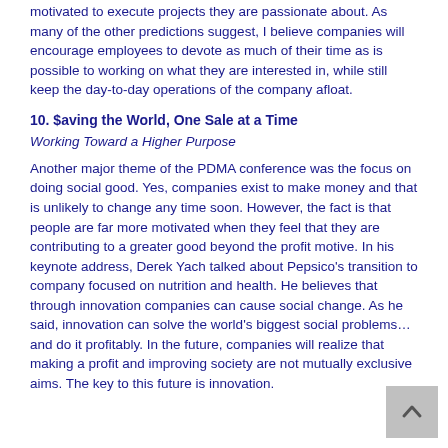motivated to execute projects they are passionate about. As many of the other predictions suggest, I believe companies will encourage employees to devote as much of their time as is possible to working on what they are interested in, while still keep the day-to-day operations of the company afloat.
10. $aving the World, One Sale at a Time
Working Toward a Higher Purpose
Another major theme of the PDMA conference was the focus on doing social good. Yes, companies exist to make money and that is unlikely to change any time soon. However, the fact is that people are far more motivated when they feel that they are contributing to a greater good beyond the profit motive. In his keynote address, Derek Yach talked about Pepsico's transition to company focused on nutrition and health. He believes that through innovation companies can cause social change. As he said, innovation can solve the world's biggest social problems… and do it profitably. In the future, companies will realize that making a profit and improving society are not mutually exclusive aims. The key to this future is innovation.